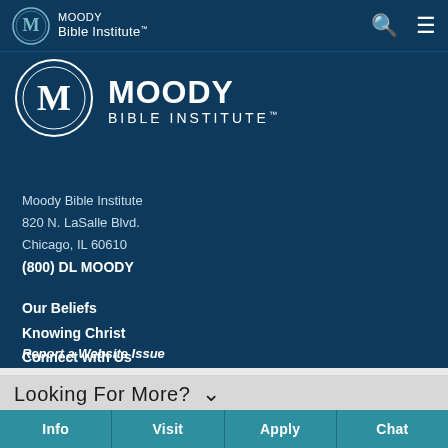[Figure (logo): Moody Bible Institute logo in navigation bar — circular M emblem with text MOODY Bible Institute]
[Figure (logo): Large Moody Bible Institute logo — circular M emblem with large MOODY BIBLE INSTITUTE text]
Moody Bible Institute
820 N. LaSalle Blvd.
Chicago, IL 60610
(800) DL MOODY
Our Beliefs
Knowing Christ
Connect with Us
Report a Website Issue
Looking For More?
Info
Visit
Apply
Chat